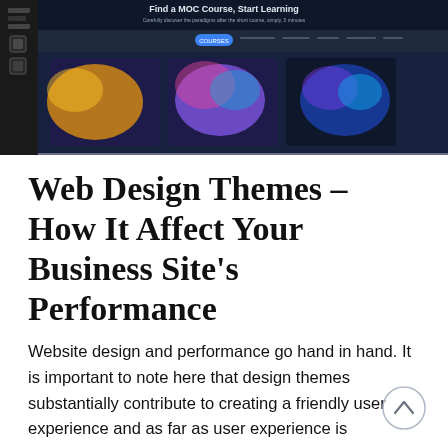[Figure (screenshot): Screenshot of a dark-themed website with colorful design theme thumbnails. The header reads 'Find a MOC Course, Start Learning' with navigation elements and colorful course/theme cards visible below.]
Web Design Themes – How It Affect Your Business Site's Performance
Website design and performance go hand in hand. It is important to note here that design themes substantially contribute to creating a friendly user experience and as far as user experience is concerned, it directly relates to your website's performance. Majority of users with a poor or undesirable user experience would most likely not return in the future, and many would instantly switch to a…